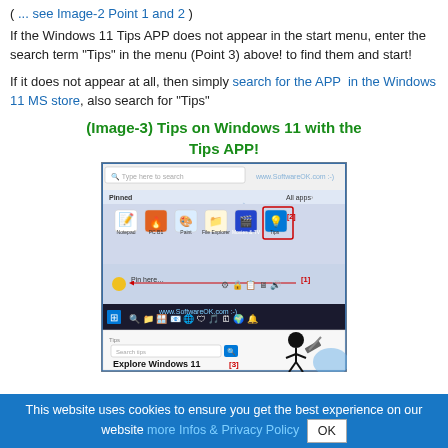( ... see Image-2 Point 1 and 2 )
If the Windows 11 Tips APP does not appear in the start menu, enter the search term "Tips" in the menu (Point 3) above! to find them and start!
If it does not appear at all, then simply search for the APP  in the Windows 11 MS store, also search for "Tips"
(Image-3) Tips on Windows 11 with the Tips APP!
[Figure (screenshot): Screenshot of Windows 11 Start Menu showing pinned apps including Tips app highlighted with a red box labeled [2], a yellow circle labeled [1] with a red arrow, the taskbar, and the Tips APP window open showing 'Explore Windows 11 [3]' with a stickman and hammer illustration]
This website uses cookies to ensure you get the best experience on our website more Infos & Privacy Policy OK